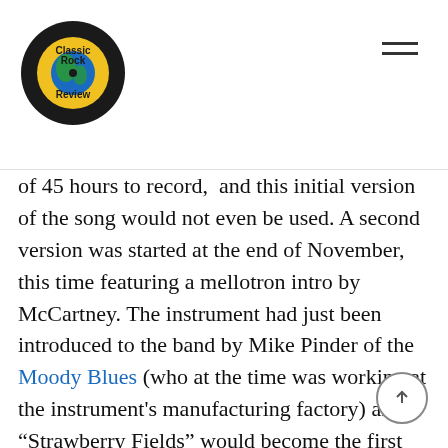Classic Rock Review
of 45 hours to record,  and this initial version of the song would not even be used. A second version was started at the end of November, this time featuring a mellotron intro by McCartney. The instrument had just been introduced to the band by Mike Pinder of the Moody Blues (who at the time was working at the instrument's manufacturing factory) and “Strawberry Fields” would become the first song by a major act to use the instrument. It gave this version of the song a surreal element and atmosphere. Still, Lennon thought he could do more with the song and a third distinct version, scored by producer George Martin